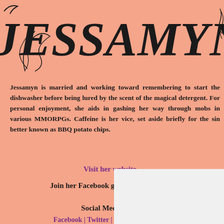JESSAMYN KING
Jessamyn is married and working toward remembering to start the dishwasher before being lured away by the scent of the magical detergent. For personal enjoyment, she aids in the defense of mankind by slashing and gashing her way through mobs in various MMORPGs. Caffeine is her vice of choice, though it is set aside briefly for the sin better known as BBQ potato chips.
Visit her website
Join her Facebook group, Jessamyn's Ruffians
Social Media Links
Facebook | Twitter | Pinterest | Facebook